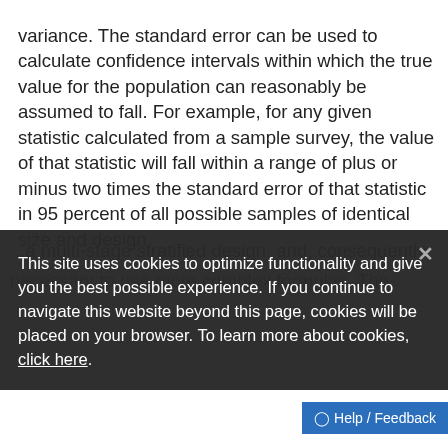variance. The standard error can be used to calculate confidence intervals within which the true value for the population can reasonably be assumed to fall. For example, for any given statistic calculated from a sample survey, the value of that statistic will fall within a range of plus or minus two times the standard error of that statistic in 95 percent of all possible samples of identical size and design.
This site uses cookies to optimize functionality and give you the best possible experience. If you continue to navigate this website beyond this page, cookies will be placed on your browser. To learn more about cookies, click here.
...a multi-stage stratified design, and, consequently, necessary to use more complex formulas. The